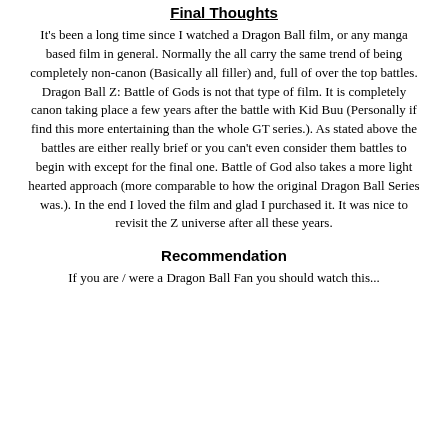Final Thoughts
It's been a long time since I watched a Dragon Ball film, or any manga based film in general. Normally the all carry the same trend of being completely non-canon (Basically all filler) and, full of over the top battles. Dragon Ball Z: Battle of Gods is not that type of film. It is completely canon taking place a few years after the battle with Kid Buu (Personally if find this more entertaining than the whole GT series.). As stated above the battles are either really brief or you can't even consider them battles to begin with except for the final one. Battle of God also takes a more light hearted approach (more comparable to how the original Dragon Ball Series was.). In the end I loved the film and glad I purchased it. It was nice to revisit the Z universe after all these years.
Recommendation
If you are / were a Dragon Ball Fan you should watch this...